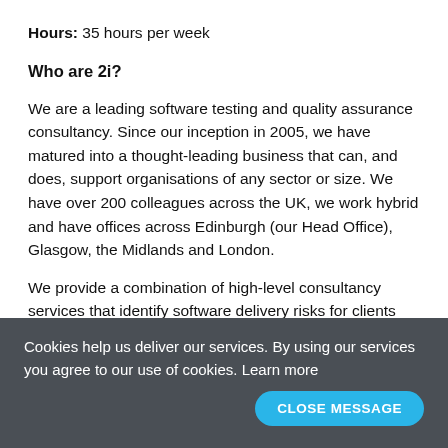Hours: 35 hours per week
Who are 2i?
We are a leading software testing and quality assurance consultancy. Since our inception in 2005, we have matured into a thought-leading business that can, and does, support organisations of any sector or size. We have over 200 colleagues across the UK, we work hybrid and have offices across Edinburgh (our Head Office), Glasgow, the Midlands and London.
We provide a combination of high-level consultancy services that identify software delivery risks for clients across different sectors and size. We implement the
Cookies help us deliver our services. By using our services you agree to our use of cookies. Learn more